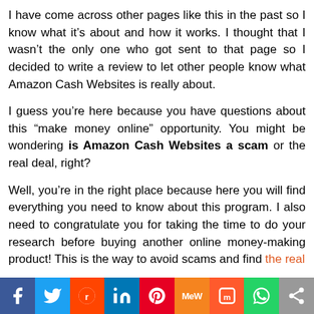I have come across other pages like this in the past so I know what it's about and how it works. I thought that I wasn't the only one who got sent to that page so I decided to write a review to let other people know what Amazon Cash Websites is really about.
I guess you're here because you have questions about this "make money online" opportunity. You might be wondering is Amazon Cash Websites a scam or the real deal, right?
Well, you're in the right place because here you will find everything you need to know about this program. I also need to congratulate you for taking the time to do your research before buying another online money-making product! This is the way to avoid scams and find the real
[Figure (infographic): Social media sharing bar with icons for Facebook, Twitter, Reddit, LinkedIn, Pinterest, MeWe, Mix, WhatsApp, and Share]